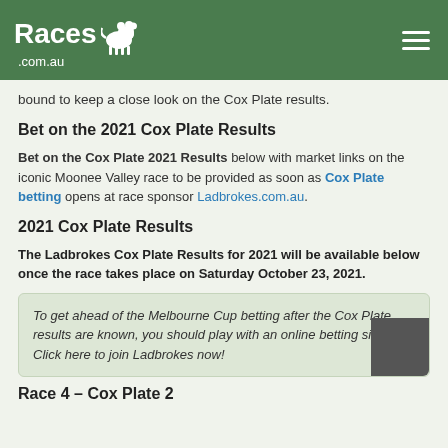[Figure (logo): Races.com.au logo with horse jockey silhouette on green header bar, hamburger menu icon on the right]
bound to keep a close look on the Cox Plate results.
Bet on the 2021 Cox Plate Results
Bet on the Cox Plate 2021 Results below with market links on the iconic Moonee Valley race to be provided as soon as Cox Plate betting opens at race sponsor Ladbrokes.com.au.
2021 Cox Plate Results
The Ladbrokes Cox Plate Results for 2021 will be available below once the race takes place on Saturday October 23, 2021.
To get ahead of the Melbourne Cup betting after the Cox Plate results are known, you should play with an online betting site. Click here to join Ladbrokes now!
Race 4 – Cox Plate 2...